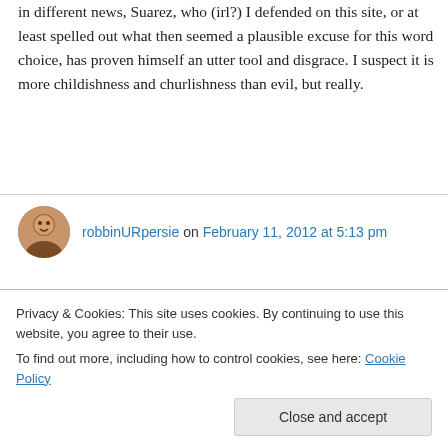in different news, Suarez, who (irl?) I defended on this site, or at least spelled out what then seemed a plausible excuse for this word choice, has proven himself an utter tool and disgrace. I suspect it is more childishness and churlishness than evil, but really.
robbinURpersie on February 11, 2012 at 5:13 pm
dont mean to be a sour-puss but, im a little worried bout our friend Mert'.. milan up next and
Privacy & Cookies: This site uses cookies. By continuing to use this website, you agree to their use.
To find out more, including how to control cookies, see here: Cookie Policy